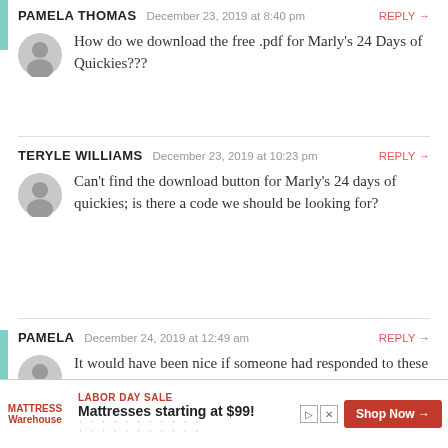PAMELA THOMAS   December 23, 2019 at 8:40 pm   REPLY →
How do we download the free .pdf for Marly's 24 Days of Quickies???
TERYLE WILLIAMS   December 23, 2019 at 10:23 pm   REPLY →
Can't find the download button for Marly's 24 days of quickies; is there a code we should be looking for?
PAMELA   December 24, 2019 at 12:49 am   REPLY →
It would have been nice if someone had responded to these questions about the ... d have loved
[Figure (screenshot): Advertisement banner: Mattress Warehouse Labor Day Sale - Mattresses starting at $99! with Shop Now button]